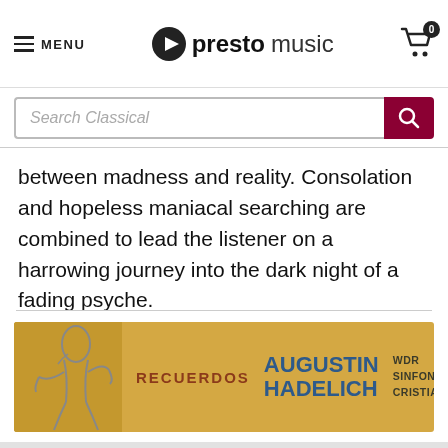MENU | prestomusic | Cart: 0
[Figure (screenshot): Search bar with placeholder text 'Search Classical' and a dark red search button with magnifying glass icon]
between madness and reality. Consolation and hopeless maniacal searching are combined to lead the listener on a harrowing journey into the dark night of a fading psyche.
[Figure (infographic): Advertisement banner with golden/yellow background showing a figure illustration on left, text 'RECUERDOS', 'AUGUSTIN HADELICH', 'WDR SINFONIEORCHESTER CRISTIAN MĂCELARU']
Company information
About us
Our team
Our shop
Work at Presto